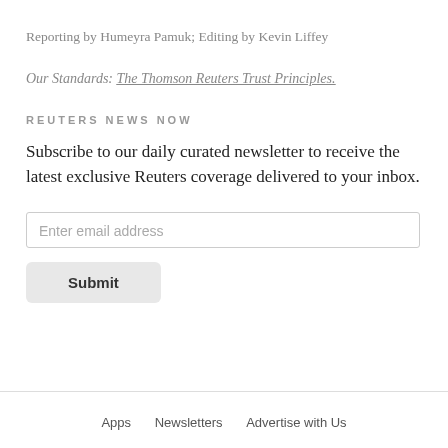Reporting by Humeyra Pamuk; Editing by Kevin Liffey
Our Standards: The Thomson Reuters Trust Principles.
REUTERS NEWS NOW
Subscribe to our daily curated newsletter to receive the latest exclusive Reuters coverage delivered to your inbox.
Apps   Newsletters   Advertise with Us